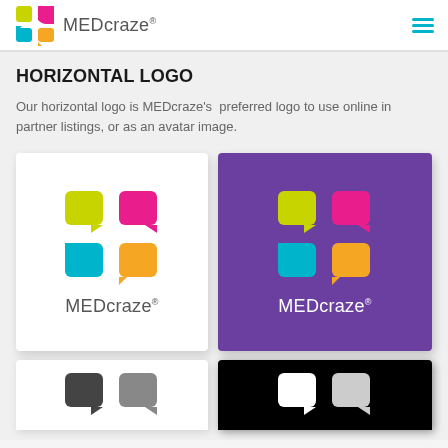[Figure (logo): MEDcraze logo in header with colorful icon and hamburger menu]
HORIZONTAL LOGO
Our horizontal logo is MEDcraze's preferred logo to use online in partner listings, or as an avatar image.
[Figure (logo): MEDcraze horizontal logo on white background]
[Figure (logo): MEDcraze horizontal logo on purple background]
[Figure (logo): MEDcraze horizontal logo on white background (black/grayscale version, partially visible)]
[Figure (logo): MEDcraze horizontal logo on black background (white version, partially visible)]